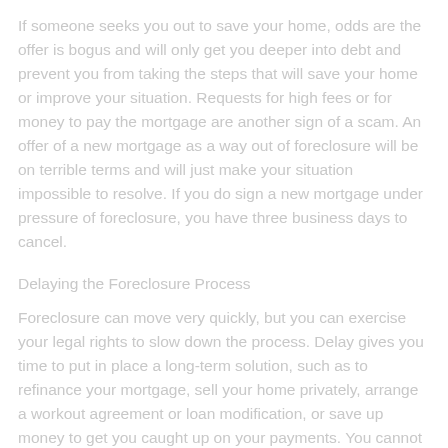If someone seeks you out to save your home, odds are the offer is bogus and will only get you deeper into debt and prevent you from taking the steps that will save your home or improve your situation. Requests for high fees or for money to pay the mortgage are another sign of a scam. An offer of a new mortgage as a way out of foreclosure will be on terrible terms and will just make your situation impossible to resolve. If you do sign a new mortgage under pressure of foreclosure, you have three business days to cancel.
Delaying the Foreclosure Process
Foreclosure can move very quickly, but you can exercise your legal rights to slow down the process. Delay gives you time to put in place a long-term solution, such as to refinance your mortgage, sell your home privately, arrange a workout agreement or loan modification, or save up money to get you caught up on your payments. You cannot properly delay foreclosure just because you need more time. The actions you take must be based on